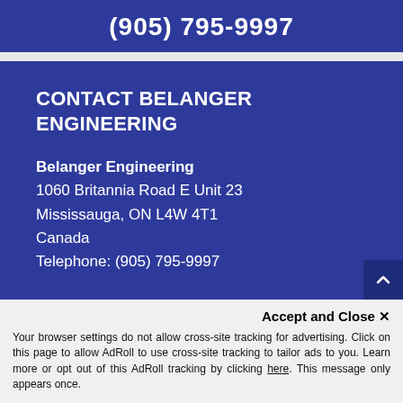(905) 795-9997
CONTACT BELANGER ENGINEERING
Belanger Engineering
1060 Britannia Road E Unit 23
Mississauga, ON L4W 4T1
Canada
Telephone: (905) 795-9997
Accept and Close ✕
Your browser settings do not allow cross-site tracking for advertising. Click on this page to allow AdRoll to use cross-site tracking to tailor ads to you. Learn more or opt out of this AdRoll tracking by clicking here. This message only appears once.